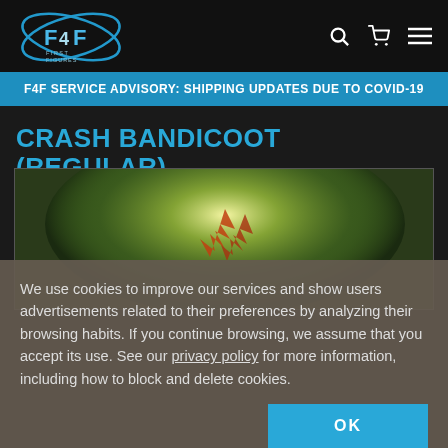F4F First Figures — Search, Cart, Menu
F4F SERVICE ADVISORY: SHIPPING UPDATES DUE TO COVID-19
CRASH BANDICOOT (REGULAR)
[Figure (photo): Product image of Crash Bandicoot figure with green glowing background and orange star-shaped elements visible]
We use cookies to improve our services and show users advertisements related to their preferences by analyzing their browsing habits. If you continue browsing, we assume that you accept its use. See our privacy policy for more information, including how to block and delete cookies.